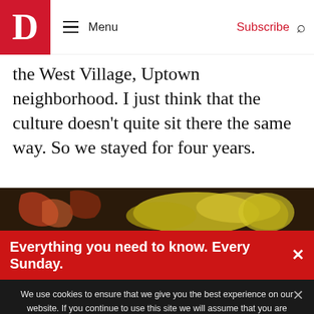D | Menu | Subscribe
the West Village, Uptown neighborhood. I just think that the culture doesn't quite sit there the same way. So we stayed for four years.
[Figure (photo): Interior of a restaurant or bar with people standing at a counter, colorful mural artwork visible on the wall above.]
Everything you need to know. Every Sunday.
We use cookies to ensure that we give you the best experience on our website. If you continue to use this site we will assume that you are happy with it.
GOT IT!